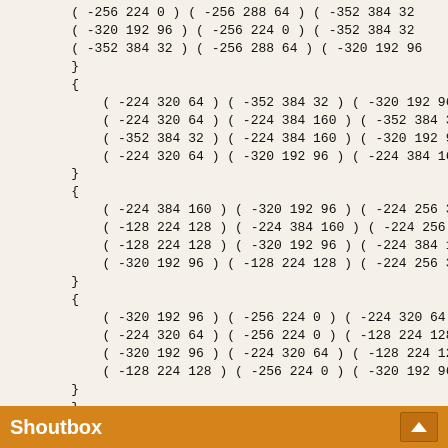( -256 224 0 ) ( -256 288 64 ) ( -352 384 32
( -320 192 96 ) ( -256 224 0 ) ( -352 384 32
( -352 384 32 ) ( -256 288 64 ) ( -320 192 96
}
{
    ( -224 320 64 ) ( -352 384 32 ) ( -320 192 96
    ( -224 320 64 ) ( -224 384 160 ) ( -352 384 32
    ( -352 384 32 ) ( -224 384 160 ) ( -320 192 96
    ( -224 320 64 ) ( -320 192 96 ) ( -224 384 160
}
{
    ( -224 384 160 ) ( -320 192 96 ) ( -224 256 3
    ( -128 224 128 ) ( -224 384 160 ) ( -224 256
    ( -128 224 128 ) ( -320 192 96 ) ( -224 384 1
    ( -320 192 96 ) ( -128 224 128 ) ( -224 256 3
}
{
    ( -320 192 96 ) ( -256 224 0 ) ( -224 320 64
    ( -224 320 64 ) ( -256 224 0 ) ( -128 224 128
    ( -320 192 96 ) ( -224 320 64 ) ( -128 224 12
    ( -128 224 128 ) ( -256 224 0 ) ( -320 192 96
}
}
Shoutbox